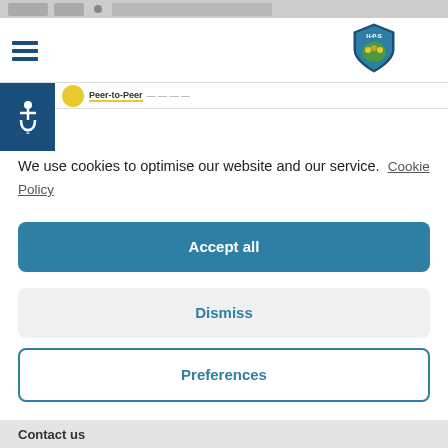[Figure (screenshot): School website header with hamburger menu icon, HPS shield logo, and a yellow peer-to-peer badge with navigation link]
[Figure (logo): Accessibility wheelchair icon button in dark blue square]
We use cookies to optimise our website and our service.  Cookie Policy
Accept all
Dismiss
Preferences
Contact us